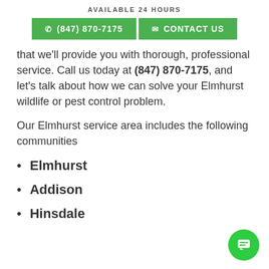AVAILABLE 24 HOURS
(847) 870-7175   CONTACT US
that we'll provide you with thorough, professional service. Call us today at (847) 870-7175, and let's talk about how we can solve your Elmhurst wildlife or pest control problem.
Our Elmhurst service area includes the following communities
Elmhurst
Addison
Hinsdale